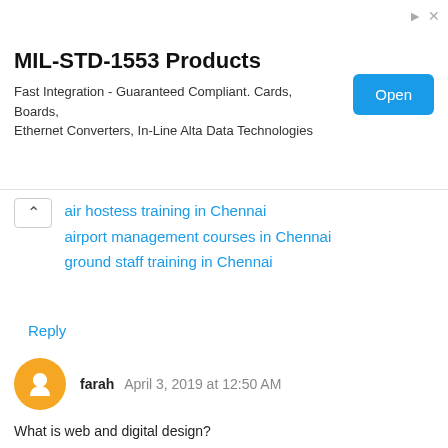[Figure (other): Advertisement banner for MIL-STD-1553 Products with Open button]
air hostess training in Chennai
airport management courses in Chennai
ground staff training in Chennai
Reply
farah  April 3, 2019 at 12:50 AM
What is web and digital design?
The aim of the Master's course in net and Digital design is that the creation of various skilled profiles with in the web media design space that ar ready to set up, turn out and share through the online communities a replacement generation of content and services in an efficient manner. If you want courses oriented any details to contact us:
Web Design Training Courses
Reply